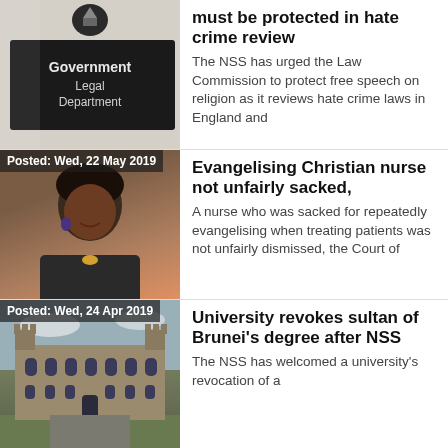[Figure (photo): Government Legal Department sign photo]
must be protected in hate crime review
The NSS has urged the Law Commission to protect free speech on religion as it reviews hate crime laws in England and
[Figure (photo): Photo of a Black woman, with date badge: Posted: Wed, 22 May 2019]
Evangelising Christian nurse not unfairly sacked,
A nurse who was sacked for repeatedly evangelising when treating patients was not unfairly dismissed, the Court of
[Figure (photo): Photo of a university building, with date badge: Posted: Wed, 24 Apr 2019]
University revokes sultan of Brunei's degree after NSS
The NSS has welcomed a university's revocation of a